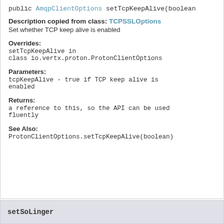public AmqpClientOptions setTcpKeepAlive(boolean
Description copied from class: TCPSSLOptions
Set whether TCP keep alive is enabled
Overrides:
setTcpKeepAlive in
class io.vertx.proton.ProtonClientOptions
Parameters:
tcpKeepAlive - true if TCP keep alive is
enabled
Returns:
a reference to this, so the API can be used
fluently
See Also:
ProtonClientOptions.setTcpKeepAlive(boolean)
setSoLinger